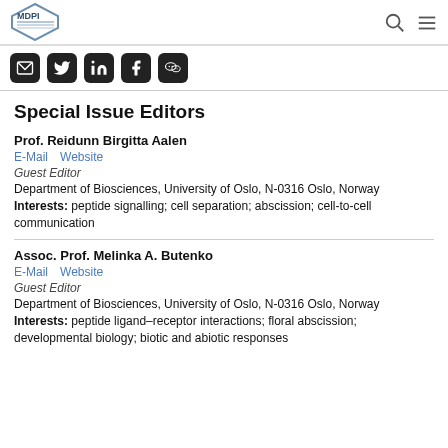[Figure (logo): MDPI logo — hexagonal shape with MDPI text inside, blue/grey tones]
[Figure (illustration): Social media share icons: email (envelope), Twitter, LinkedIn, Facebook, WeChat]
Special Issue Editors
Prof. Reidunn Birgitta Aalen
E-Mail    Website
Guest Editor
Department of Biosciences, University of Oslo, N-0316 Oslo, Norway
Interests: peptide signalling; cell separation; abscission; cell-to-cell communication
Assoc. Prof. Melinka A. Butenko
E-Mail    Website
Guest Editor
Department of Biosciences, University of Oslo, N-0316 Oslo, Norway
Interests: peptide ligand–receptor interactions; floral abscission; developmental biology; biotic and abiotic responses